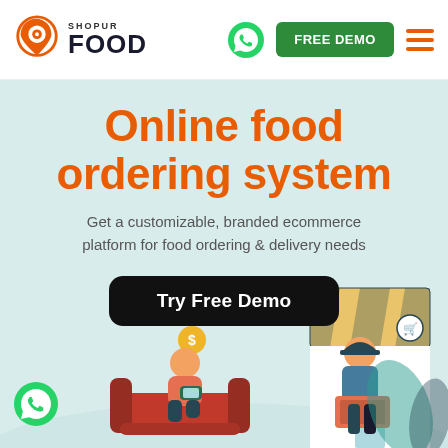[Figure (logo): Shopur Food logo with orange location pin icon and bold FOOD text]
FREE DEMO
Online food ordering system
Get a customizable, branded ecommerce platform for food ordering & delivery needs
Try Free Demo
[Figure (illustration): Illustration of a person on a couch ordering food and a delivery person with a phone, with food shop background, coins, clock, and cart icons]